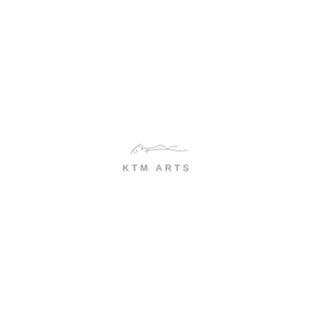[Figure (logo): KTM ARTS logo with a handwritten signature/swoosh graphic above the text 'KTM ARTS' in spaced grey capital letters]